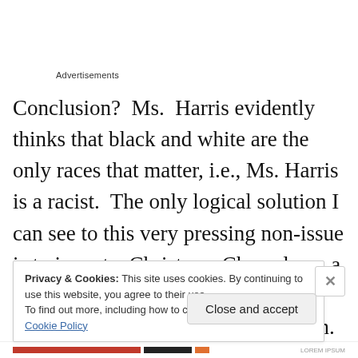Advertisements
Conclusion?  Ms.  Harris evidently thinks that black and white are the only races that matter, i.e., Ms. Harris is a racist.  The only logical solution I can see to this very pressing non-issue is to invent a Christmas Chameleon, a creature that is or can be any and all colors of the multi-cultural spectrum.  He could slither down the chimney and bring all the sensitive boys and girls some Ritalin.  Except
Privacy & Cookies: This site uses cookies. By continuing to use this website, you agree to their use.
To find out more, including how to control cookies, see here: Cookie Policy
Close and accept